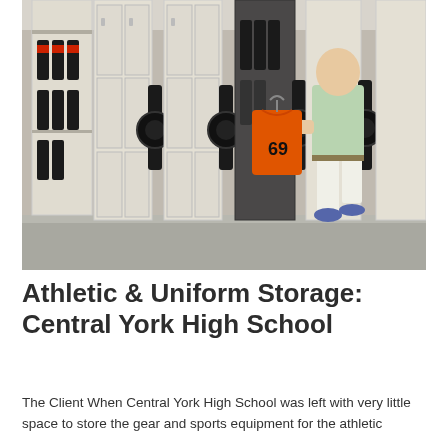[Figure (photo): A man in a light green polo shirt and white shorts standing in a mobile shelving storage room, holding an orange football jersey numbered 69. The shelving units are cream/beige colored with black handles and contain sports uniforms and equipment hanging on racks.]
Athletic & Uniform Storage: Central York High School
The Client When Central York High School was left with very little space to store the gear and sports equipment for the athletic